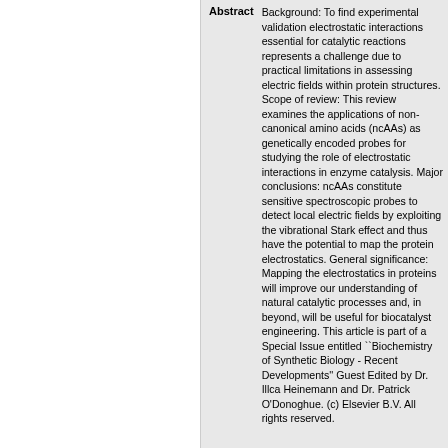Abstract
Background: To find experimental validation electrostatic interactions essential for catalytic reactions represents a challenge due to practical limitations in assessing electric fields within protein structures. Scope of review: This review examines the applications of non-canonical amino acids (ncAAs) as genetically encoded probes for studying the role of electrostatic interactions in enzyme catalysis. Major conclusions: ncAAs constitute sensitive spectroscopic probes to detect local electric fields by exploiting the vibrational Stark effect and thus have the potential to map the protein electrostatics. General significance: Mapping the electrostatics in proteins will improve our understanding of natural catalytic processes and, in beyond, will be useful for biocatalyst engineering. This article is part of a Special Issue entitled ``Biochemistry of Synthetic Biology - Recent Developments'' Guest Edited by Dr. Illca Heinemann and Dr. Patrick O'Donoghue. (c) Elsevier B.V. All rights reserved.